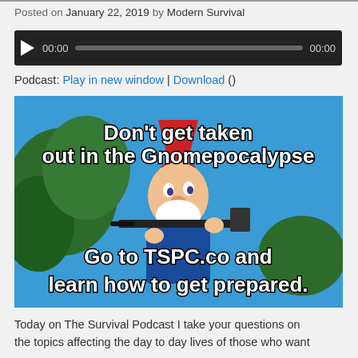Posted on January 22, 2019 by Modern Survival
[Figure (other): Audio player widget with dark background, play button, time display 00:00, progress bar, end time 00:00]
Podcast: Play in new window | Download ()
[Figure (photo): Meme image of a garden gnome holding a rifle against a blue sky with trees, text overlay: 'Don't get taken out in the Gnomepocalypse' and 'Go to TSPC.co and learn how to get prepared.']
Today on The Survival Podcast I take your questions on the topics affecting the day to day lives of those who want